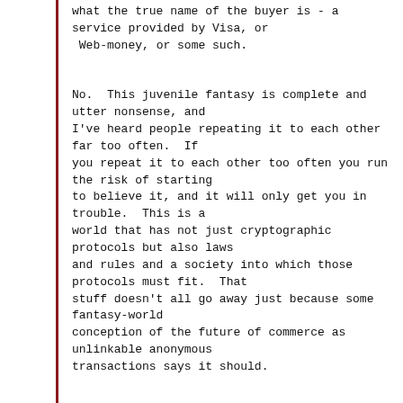what the true name of the buyer is - a service provided by Visa, or
 Web-money, or some such.

No.  This juvenile fantasy is complete and utter nonsense, and
I've heard people repeating it to each other far too often.  If
you repeat it to each other too often you run the risk of starting
to believe it, and it will only get you in trouble.  This is a
world that has not just cryptographic protocols but also laws
and rules and a society into which those protocols must fit.  That
stuff doesn't all go away just because some fantasy-world
conception of the future of commerce as unlinkable anonymous
transactions says it should.

In any transaction involving physical goods,